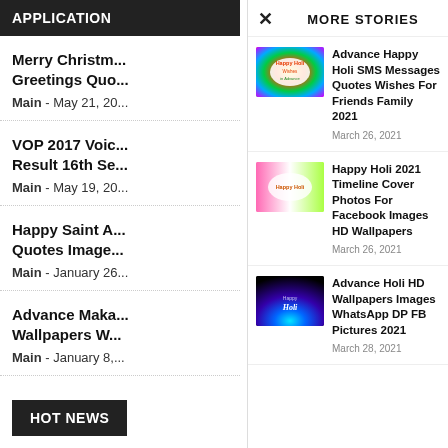APPLICATION
Merry Christm... Greetings Quo...
Main - May 21, 20...
VOP 2017 Voic... Result 16th Se...
Main - May 19, 20...
Happy Saint A... Quotes Image...
Main - January 26...
Advance Maka... Wallpapers W...
Main - January 8,...
HOT NEWS
MORE STORIES
[Figure (photo): Happy Holi Wishes in Advance colorful splash image]
Advance Happy Holi SMS Messages Quotes Wishes For Friends Family 2021
March 26, 2021
[Figure (photo): Happy Holi pink green banner image]
Happy Holi 2021 Timeline Cover Photos For Facebook Images HD Wallpapers
March 26, 2021
[Figure (photo): Advance Holi dark background with colorful powder explosion]
Advance Holi HD Wallpapers Images WhatsApp DP FB Pictures 2021
March 28, 2021